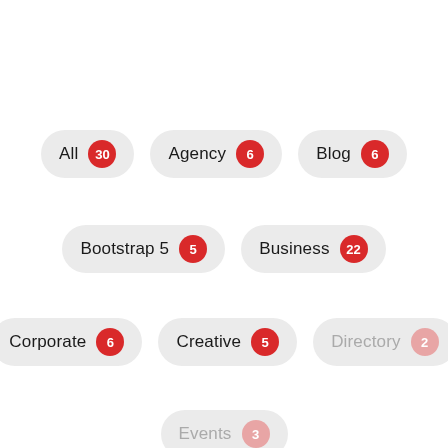All 30
Agency 6
Blog 6
Bootstrap 5 5
Business 22
Corporate 6
Creative 5
Directory 2
Events 3